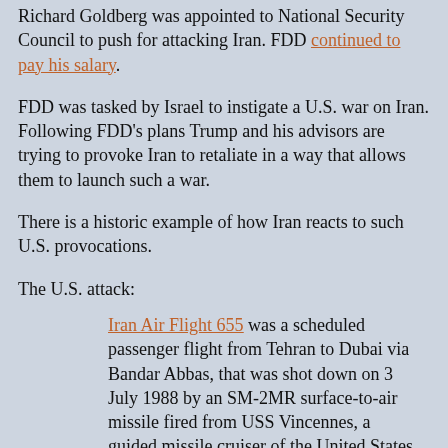Richard Goldberg was appointed to National Security Council to push for attacking Iran. FDD continued to pay his salary.
FDD was tasked by Israel to instigate a U.S. war on Iran. Following FDD’s plans Trump and his advisors are trying to provoke Iran to retaliate in a way that allows them to launch such a war.
There is a historic example of how Iran reacts to such U.S. provocations.
The U.S. attack:
Iran Air Flight 655 was a scheduled passenger flight from Tehran to Dubai via Bandar Abbas, that was shot down on 3 July 1988 by an SM-2MR surface-to-air missile fired from USS Vincennes, a guided missile cruiser of the United States Navy. The aircraft, an Airbus A300, was destroyed and all 290 people on board, including 66 children, were killed.
The Iranian retribution:
Pan Am Flight 103 was a regularly scheduled Pan Am transatlantic flight from Frankfurt to